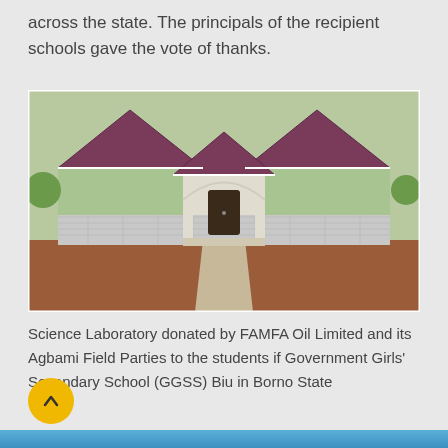across the state. The principals of the recipient schools gave the vote of thanks.
[Figure (photo): Photo of a science laboratory building with green walls, brick lower section, and dark red/maroon sloped roofs. The building has three pyramid-shaped roof peaks and a central entrance with an arch. A concrete path leads to the entrance through a red dirt forecourt.]
Science Laboratory donated by FAMFA Oil Limited and its Agbami Field Parties to the students if Government Girls' Secondary School (GGSS) Biu in Borno State